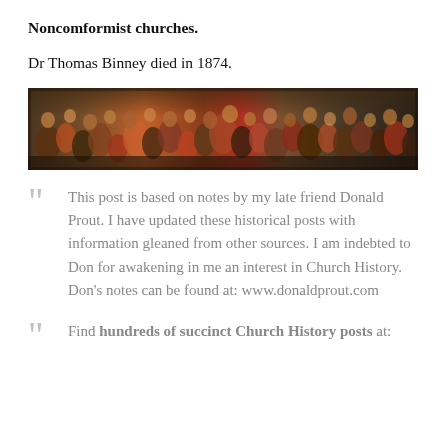Noncomformist churches.
Dr Thomas Binney died in 1874.
[Figure (photo): A wide panoramic painting or photograph depicting a large crowd of historical figures gathered together, rendered in dark warm tones with reds, browns, and golds.]
This post is based on notes by my late friend Donald Prout. I have updated these historical posts with information gleaned from other sources. I am indebted to Don for awakening in me an interest in Church History. Don's notes can be found at: www.donaldprout.com
Find hundreds of succinct Church History posts at: